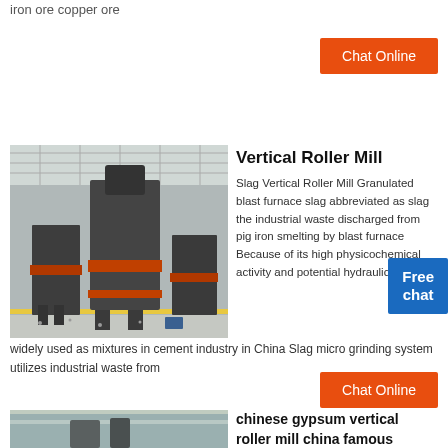iron ore copper ore
[Figure (other): Button labeled Chat Online on orange background]
[Figure (photo): Industrial vertical roller mill machines in a factory/warehouse setting]
Vertical Roller Mill
Slag Vertical Roller Mill Granulated blast furnace slag abbreviated as slag the industrial waste discharged from pig iron smelting by blast furnace Because of its high physicochemical activity and potential hydraulicity it is widely used as mixtures in cement industry in China Slag micro grinding system utilizes industrial waste from
[Figure (other): Free chat badge in blue]
[Figure (other): Button labeled Chat Online on orange background]
[Figure (photo): Industrial gypsum vertical roller mill machinery in factory]
chinese gypsum vertical roller mill china famous mining